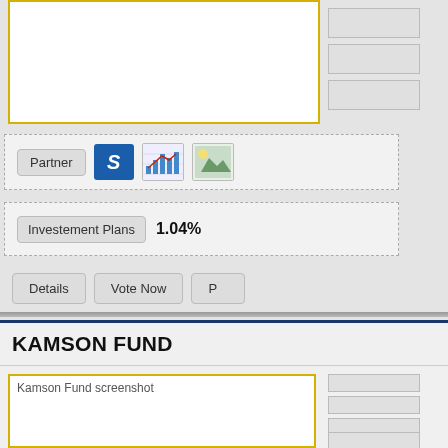[Figure (screenshot): Partial view of a financial fund listing page. Top section shows a fund entry with a screenshot placeholder (gold border), small gray info boxes on the right, a Partner section with dashed border containing Partner button, blue S icon, chart icon, and landscape icon, an Investment Plans section showing 1.04% value, and action buttons: Details, Vote Now, and a partially visible third button. Bottom section shows a KAMSON FUND card with dark blue top border, title 'KAMSON FUND', a screenshot placeholder with gold border showing 'Kamson Fund screenshot' alt text, and small gray boxes on the right side.]
KAMSON FUND
Partner
Investement Plans
1.04%
Details
Vote Now
Kamson Fund screenshot